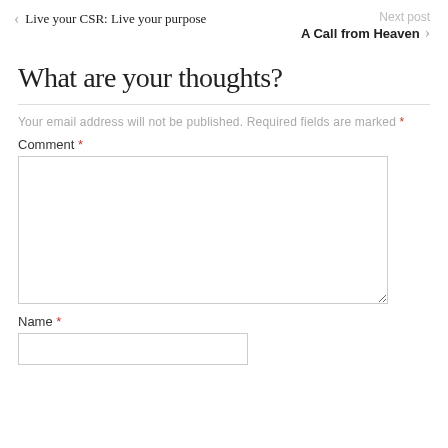Live your CSR: Live your purpose
Next post
A Call from Heaven
What are your thoughts?
Your email address will not be published. Required fields are marked *
Comment *
Name *